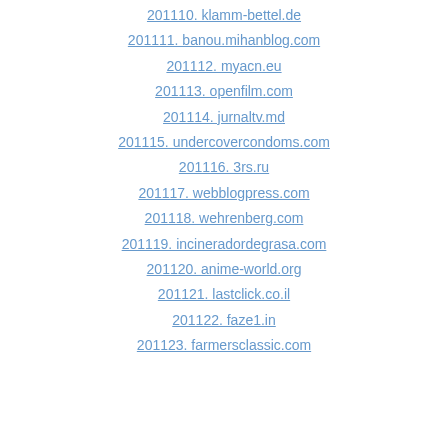201110. klamm-bettel.de
201111. banou.mihanblog.com
201112. myacn.eu
201113. openfilm.com
201114. jurnaltv.md
201115. undercovercondoms.com
201116. 3rs.ru
201117. webblogpress.com
201118. wehrenberg.com
201119. incineradordegrasa.com
201120. anime-world.org
201121. lastclick.co.il
201122. faze1.in
201123. farmersclassic.com